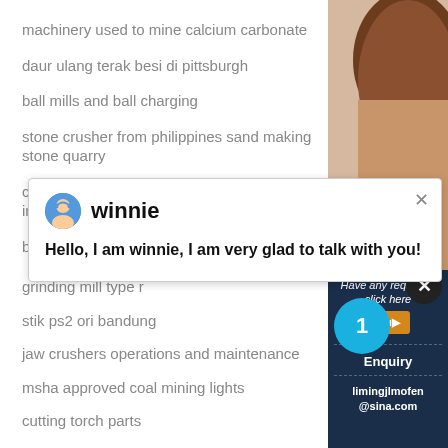machinery used to mine calcium carbonate
daur ulang terak besi di pittsburgh
ball mills and ball charging
stone crusher from philippines sand making stone quarry
condition monitoring applisbmion in mining industries
best portable crusher for gold html
[Figure (photo): Partial view of a person with brown hair, top-right corner of page]
[Figure (screenshot): Chat popup with avatar icon, name 'winnie', and message: Hello, I am winnie, I am very glad to talk with you!]
grinding mill type r
stik ps2 ori bandung
jaw crushers operations and maintenance
msha approved coal mining lights
cutting torch parts
concentrator gold for sale
project report of stone crusher powerpoint
Have any requests, click here
Quo
1
Enquiry
limingjlmofen@sina.com